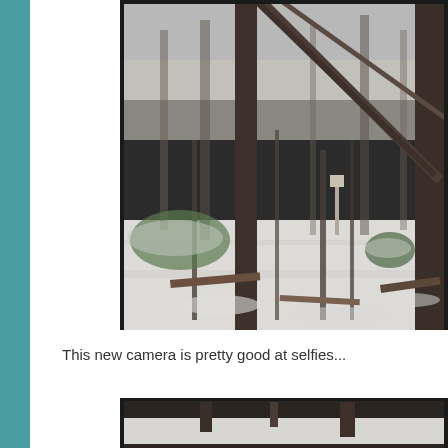[Figure (photo): Winter forest scene with bare deciduous trees, snow-covered ground, fallen branches and debris, overcast sky. A trail camera photo showing snowy woods.]
This new camera is pretty good at selfies...
[Figure (photo): Partial view of a second trail camera photo, also showing snowy forest scene, cropped at bottom of page.]